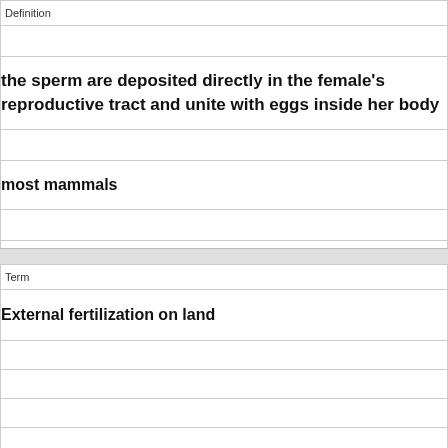| Definition |
| --- |
| the sperm are deposited directly in the female's reproductive tract and unite with eggs inside her body |
| most mammals |
|  |
|  |
|  |
| Term |
| --- |
| External fertilization on land |
|  |
|  |
|  |
|  |
|  |
|  |